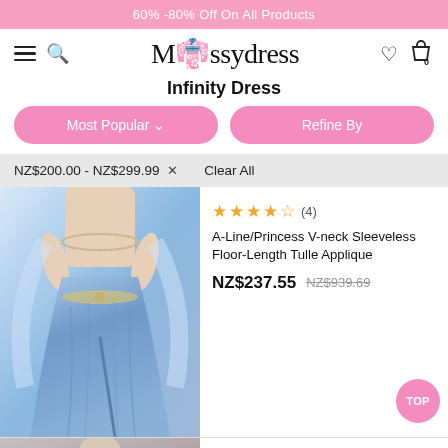60% -80% Off On All Products
[Figure (logo): Missydress logo with hamburger menu, search, heart and bag icons]
Infinity Dress
Most Popular ∨
Refine By
NZ$200.00 - NZ$299.99 × Clear All
[Figure (photo): Blue flowy A-line princess dress with off-shoulder beaded neckline and sheer long sleeves, showing high leg slit]
★★★★½ (4)
A-Line/Princess V-neck Sleeveless Floor-Length Tulle Applique
NZ$237.55  NZ$939.69
[Figure (photo): Second dress product thumbnail at bottom right]